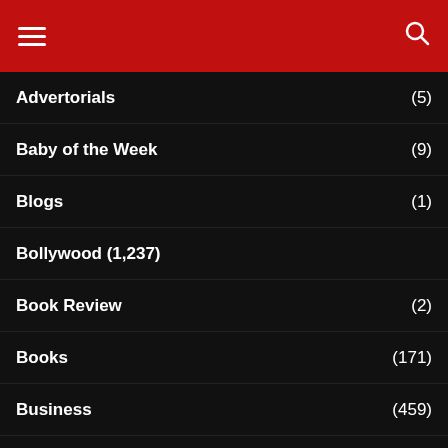Navigation menu header with hamburger icon and search icon
Advertorials (5)
Baby of the Week (9)
Blogs (1)
Bollywood (1,237)
Book Review (2)
Books (171)
Business (459)
City News (1,302)
Features (206)
Photos of the Day (9)
Health (167)
Healthwise (  )
Horoscopes (-)
Immigration (54)